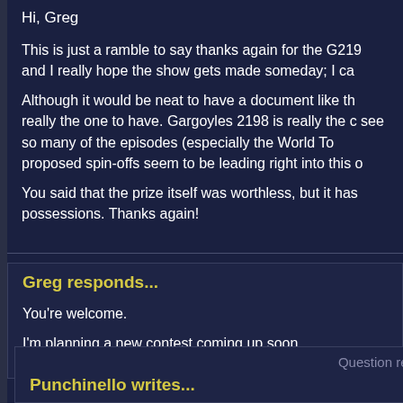Hi, Greg
This is just a ramble to say thanks again for the G219 and I really hope the show gets made someday; I ca
Although it would be neat to have a document like th really the one to have. Gargoyles 2198 is really the c see so many of the episodes (especially the World To proposed spin-offs seem to be leading right into this o
You said that the prize itself was worthless, but it has possessions. Thanks again!
Greg responds...
You're welcome.
I'm planning a new contest coming up soon.
Question rec
Punchinello writes...